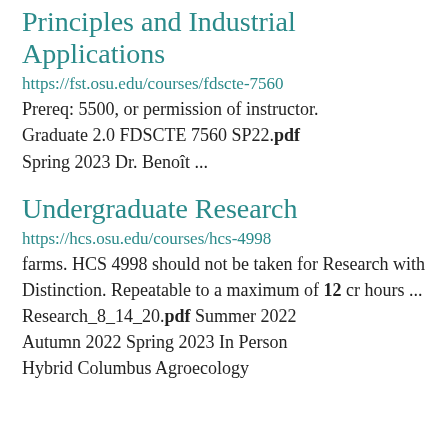Principles and Industrial Applications
https://fst.osu.edu/courses/fdscte-7560
Prereq: 5500, or permission of instructor. Graduate 2.0 FDSCTE 7560 SP22.pdf Spring 2023 Dr. Benoît ...
Undergraduate Research
https://hcs.osu.edu/courses/hcs-4998
farms. HCS 4998 should not be taken for Research with Distinction. Repeatable to a maximum of 12 cr hours ... Research_8_14_20.pdf Summer 2022 Autumn 2022 Spring 2023 In Person Hybrid Columbus Agroecology